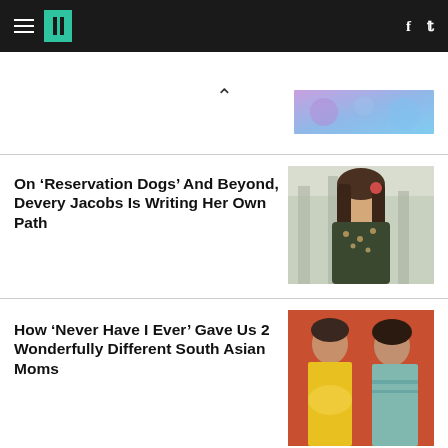HuffPost navigation bar with hamburger menu, logo, Facebook and Twitter icons
[Figure (photo): Purple and blue blurred photo thumbnail in top right area]
On ‘Reservation Dogs’ And Beyond, Devery Jacobs Is Writing Her Own Path
[Figure (photo): Photo of Devery Jacobs, a woman with long hair and floral top, standing outdoors with blurred trees behind her]
How ‘Never Have I Ever’ Gave Us 2 Wonderfully Different South Asian Moms
[Figure (photo): Photo of two South Asian women in traditional attire, one in yellow saree and one in teal saree]